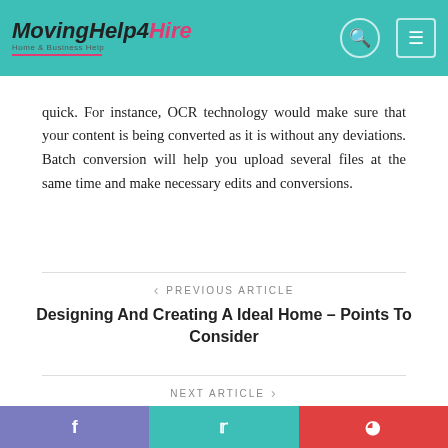MovingHelp4Hire – Home & Business Help
quick. For instance, OCR technology would make sure that your content is being converted as it is without any deviations. Batch conversion will help you upload several files at the same time and make necessary edits and conversions.
PREVIOUS ARTICLE
Designing And Creating A Ideal Home – Points To Consider
NEXT ARTICLE
Learn More After Experiencing With Virtual Escape Room Singapore
f  t  p (social share icons)